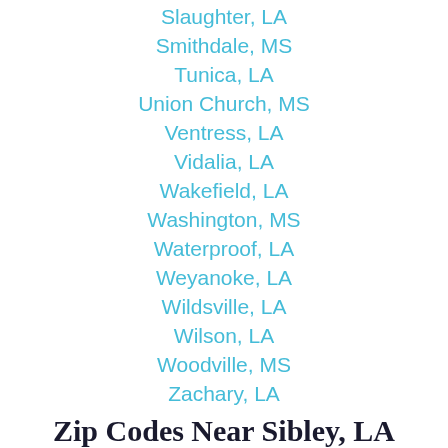Slaughter, LA
Smithdale, MS
Tunica, LA
Union Church, MS
Ventress, LA
Vidalia, LA
Wakefield, LA
Washington, MS
Waterproof, LA
Weyanoke, LA
Wildsville, LA
Wilson, LA
Woodville, MS
Zachary, LA
Zip Codes Near Sibley, LA